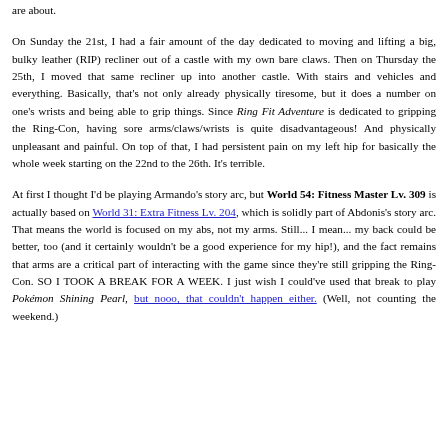are about.
On Sunday the 21st, I had a fair amount of the day dedicated to moving and lifting a big, bulky leather (RIP) recliner out of a castle with my own bare claws. Then on Thursday the 25th, I moved that same recliner up into another castle. With stairs and vehicles and everything. Basically, that's not only already physically tiresome, but it does a number on one's wrists and being able to grip things. Since Ring Fit Adventure is dedicated to gripping the Ring-Con, having sore arms/claws/wrists is quite disadvantageous! And physically unpleasant and painful. On top of that, I had persistent pain on my left hip for basically the whole week starting on the 22nd to the 26th. It's terrible.
At first I thought I'd be playing Armando's story arc, but World 54: Fitness Master Lv. 309 is actually based on World 31: Extra Fitness Lv. 204, which is solidly part of Abdonis's story arc. That means the world is focused on my abs, not my arms. Still... I mean... my back could be better, too (and it certainly wouldn't be a good experience for my hip!), and the fact remains that arms are a critical part of interacting with the game since they're still gripping the Ring-Con. SO I TOOK A BREAK FOR A WEEK. I just wish I could've used that break to play Pokémon Shining Pearl, but nooo, that couldn't happen either. (Well, not counting the weekend.)